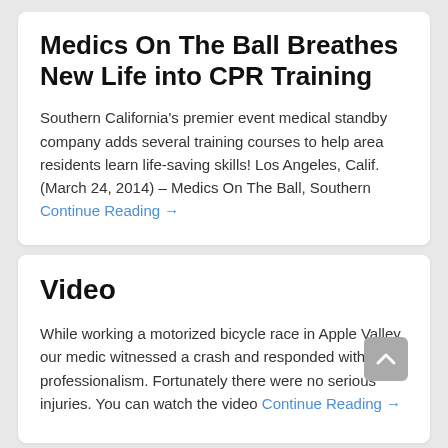Medics On The Ball Breathes New Life into CPR Training
Southern California's premier event medical standby company adds several training courses to help area residents learn life-saving skills! Los Angeles, Calif. (March 24, 2014) – Medics On The Ball, Southern Continue Reading →
Video
While working a motorized bicycle race in Apple Valley our medic witnessed a crash and responded with calm professionalism. Fortunately there were no serious injuries. You can watch the video Continue Reading →